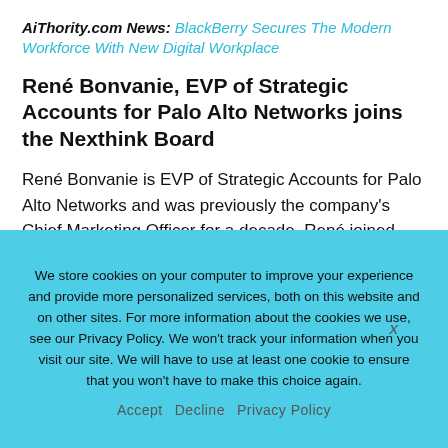AiThority.com News: BlackBerry Secures The Modern Workforce With New Digital Workplace
René Bonvanie, EVP of Strategic Accounts for Palo Alto Networks joins the Nexthink Board
René Bonvanie is EVP of Strategic Accounts for Palo Alto Networks and was previously the company's Chief Marketing Officer for a decade. René joined Palo Alto Networks in 2009 and has
We store cookies on your computer to improve your experience and provide more personalized services, both on this website and on other sites. For more information about the cookies we use, see our Privacy Policy. We won't track your information when you visit our site. We will have to use at least one cookie to ensure that you won't have to make this choice again.
Accept   Decline   Privacy Policy